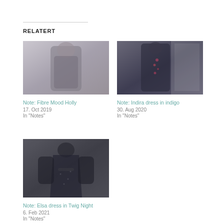RELATERT
[Figure (photo): Fashion photo of a person wearing a grey/charcoal draped dress or coat, indoor setting]
Note: Fibre Mood Holly
17. Oct 2019
In "Notes"
[Figure (photo): Fashion photo of a person wearing a dark navy dress with floral embroidery detail, indoor setting]
Note: Indira dress in indigo
30. Aug 2020
In "Notes"
[Figure (photo): Fashion photo of a person wearing a dark charcoal wrap dress with long sleeves, indoor setting]
Note: Elsa dress in Twig Night
6. Feb 2021
In "Notes"